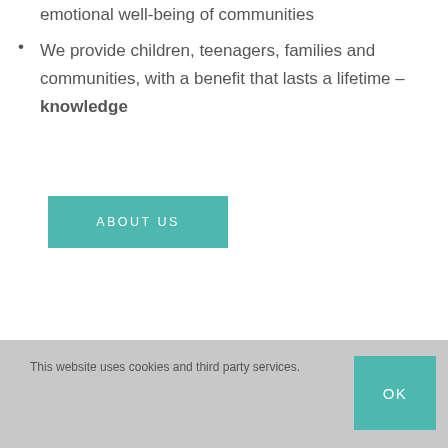emotional well-being of communities
We provide children, teenagers, families and communities, with a benefit that lasts a lifetime – knowledge
[Figure (other): Teal/green rectangular button with text ABOUT US in white uppercase letters]
This website uses cookies and third party services. OK